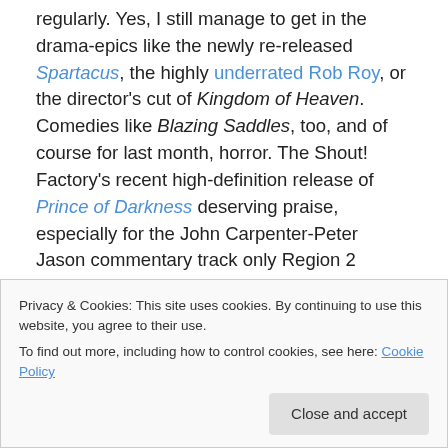regularly. Yes, I still manage to get in the drama-epics like the newly re-released Spartacus, the highly underrated Rob Roy, or the director's cut of Kingdom of Heaven. Comedies like Blazing Saddles, too, and of course for last month, horror. The Shout! Factory's recent high-definition release of Prince of Darkness deserving praise, especially for the John Carpenter-Peter Jason commentary track only Region 2 viewers could previously appreciate.

Still, I have a warm place in my heart for those that deal
Privacy & Cookies: This site uses cookies. By continuing to use this website, you agree to their use.
To find out more, including how to control cookies, see here: Cookie Policy